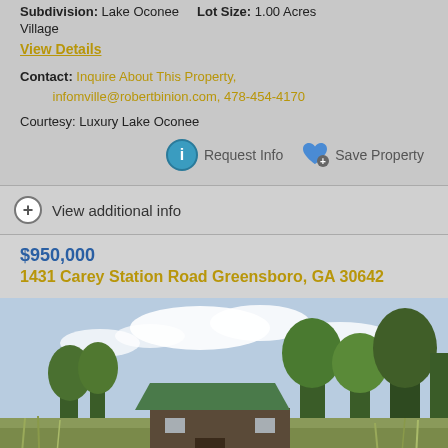Subdivision: Lake Oconee Lot Size: 1.00 Acres Village
View Details
Contact: Inquire About This Property, infomville@robertbinion.com, 478-454-4170
Courtesy: Luxury Lake Oconee
Request Info   Save Property
View additional info
$950,000
1431 Carey Station Road Greensboro, GA 30642
[Figure (photo): Exterior photo of a small cabin or outbuilding with a green roof, surrounded by trees and tall grass under a partly cloudy sky]